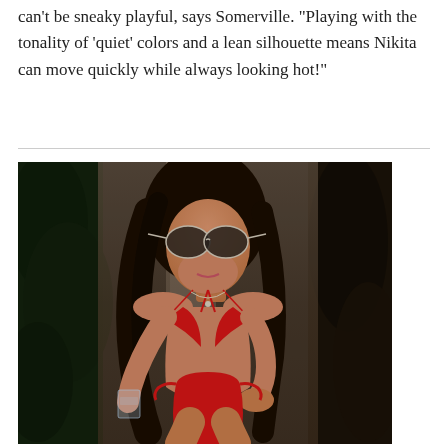can't be sneaky playful, says Somerville. "Playing with the tonality of 'quiet' colors and a lean silhouette means Nikita can move quickly while always looking hot!"
[Figure (photo): A woman wearing a red bikini and aviator sunglasses, holding a glass, photographed in front of green foliage and an architectural pillar]